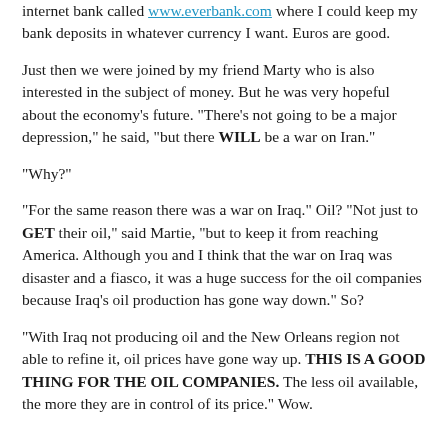internet bank called www.everbank.com where I could keep my bank deposits in whatever currency I want. Euros are good.
Just then we were joined by my friend Marty who is also interested in the subject of money. But he was very hopeful about the economy's future. "There's not going to be a major depression," he said, "but there WILL be a war on Iran."
"Why?"
"For the same reason there was a war on Iraq." Oil? "Not just to GET their oil," said Martie, "but to keep it from reaching America. Although you and I think that the war on Iraq was disaster and a fiasco, it was a huge success for the oil companies because Iraq's oil production has gone way down." So?
"With Iraq not producing oil and the New Orleans region not able to refine it, oil prices have gone way up. THIS IS A GOOD THING FOR THE OIL COMPANIES. The less oil available, the more they are in control of its price." Wow.